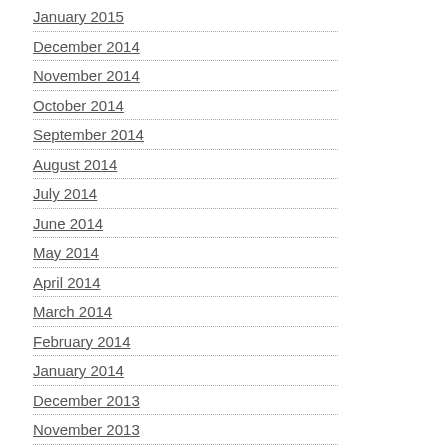January 2015
December 2014
November 2014
October 2014
September 2014
August 2014
July 2014
June 2014
May 2014
April 2014
March 2014
February 2014
January 2014
December 2013
November 2013
October 2013